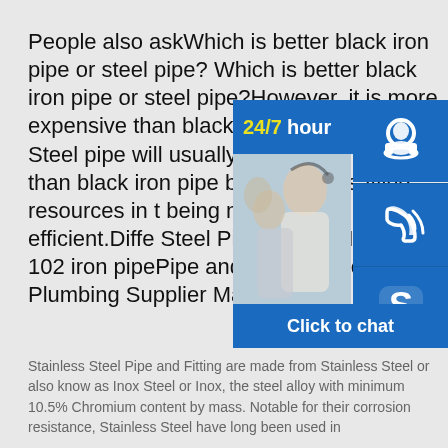People also askWhich is better black iron pipe or steel pipe? Which is better black iron pipe or steel pipe?However, it is more expensive than black iron pipes or PVC. Steel pipe will usually co percent more than black iron pipe better job of saving resources in t being more energy efficient.Diffe Steel Pipe & Black Iron Pipe 102 iron pipePipe and Fitting Materials - Plumbing Supplier Malaysia
[Figure (photo): Customer service representative smiling with headset, alongside a 24/7 hour support banner, phone icon, Skype icon, and Click to chat button.]
Stainless Steel Pipe and Fitting are made from Stainless Steel or also know as Inox Steel or Inox, the steel alloy with minimum 10.5% Chromium content by mass. Notable for their corrosion resistance, Stainless Steel have long been used in